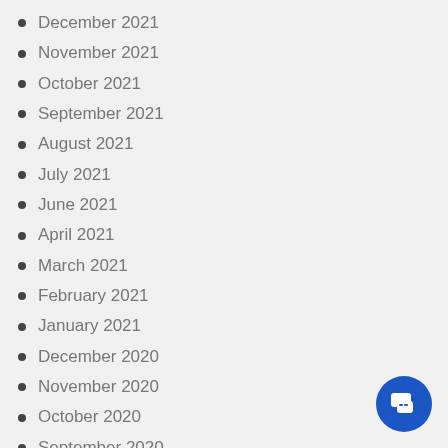December 2021
November 2021
October 2021
September 2021
August 2021
July 2021
June 2021
April 2021
March 2021
February 2021
January 2021
December 2020
November 2020
October 2020
September 2020
August 2020
July 2020